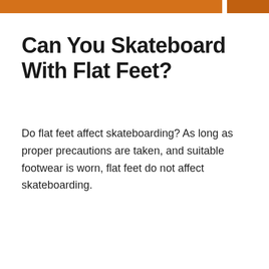Can You Skateboard With Flat Feet?
Do flat feet affect skateboarding? As long as proper precautions are taken, and suitable footwear is worn, flat feet do not affect skateboarding.